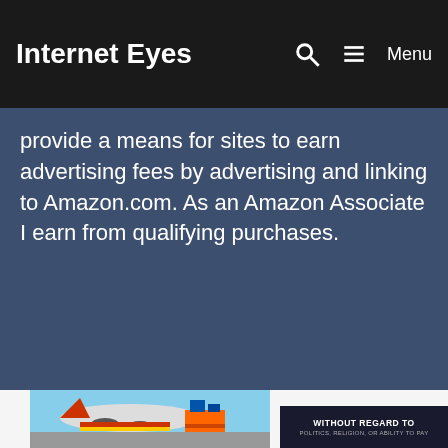Internet Eyes
provide a means for sites to earn advertising fees by advertising and linking to Amazon.com. As an Amazon Associate I earn from qualifying purchases.
[Figure (photo): Airplane being loaded with cargo on tarmac with colorful livery visible]
[Figure (infographic): Dark advertisement banner with text WITHOUT REGARD TO POLITICS, RELIGION, OR ABILITY TO PAY]